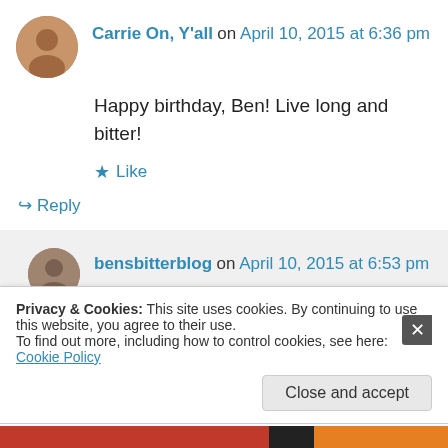Carrie On, Y'all on April 10, 2015 at 6:36 pm
Happy birthday, Ben! Live long and bitter!
★ Like
↪ Reply
bensbitterblog on April 10, 2015 at 6:53 pm
You know I will be Carrie! Carrie on Y ' all ' s family!
Privacy & Cookies: This site uses cookies. By continuing to use this website, you agree to their use. To find out more, including how to control cookies, see here: Cookie Policy
Close and accept